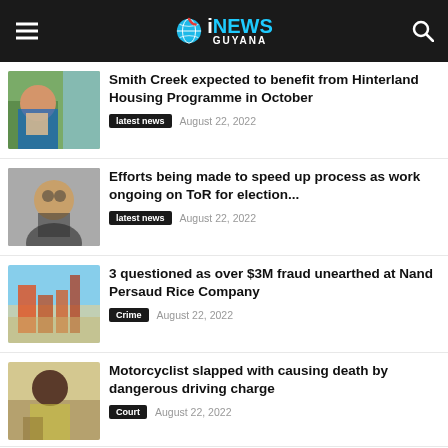iNEWS GUYANA
Smith Creek expected to benefit from Hinterland Housing Programme in October
latest news  August 22, 2022
Efforts being made to speed up process as work ongoing on ToR for election...
latest news  August 22, 2022
3 questioned as over $3M fraud unearthed at Nand Persaud Rice Company
Crime  August 22, 2022
Motorcyclist slapped with causing death by dangerous driving charge
Court  August 22, 2022